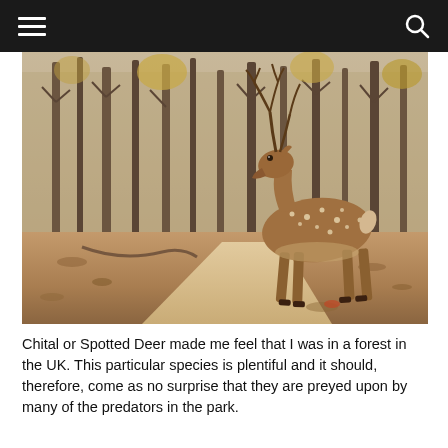[Figure (photo): A chital (spotted deer) with large antlers standing on a dirt path in a dry deciduous forest with sparse trees and fallen leaves on the ground.]
Chital or Spotted Deer made me feel that I was in a forest in the UK. This particular species is plentiful and it should, therefore, come as no surprise that they are preyed upon by many of the predators in the park.